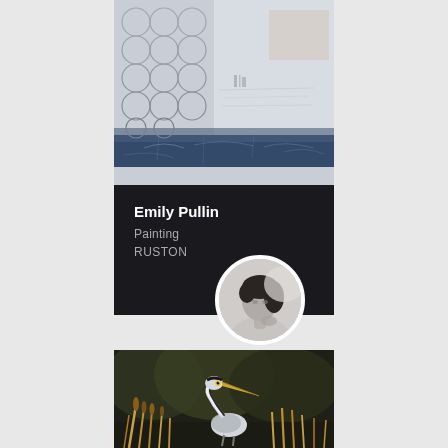[Figure (illustration): Abstract painting with circular bubble patterns on the left side and a textured, pale blue-grey background. A dark navy horizontal band runs across the lower portion of the painting.]
Emily Pullin
Painting
RUSTON
[Figure (photo): Black and white portrait photograph of a woman with dark hair, looking contemplatively to the side with her hand near her chin.]
[Figure (illustration): Dark oil painting of a great blue heron standing in water among golden reeds, with a dark background.]